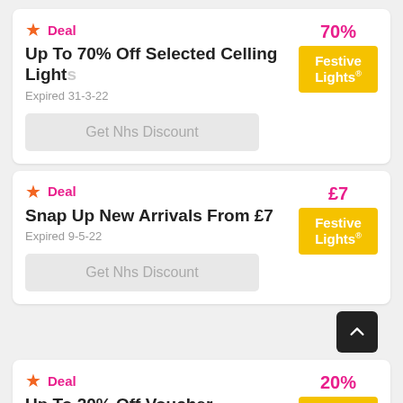Deal — Up To 70% Off Selected Celling Lights — Expired 31-3-22 — Get Nhs Discount — 70% — Festive Lights
Deal — Snap Up New Arrivals From £7 — Expired 9-5-22 — Get Nhs Discount — £7 — Festive Lights
Deal — Up To 20% Off Voucher — Expired 9-5-22 — 20% — Festive